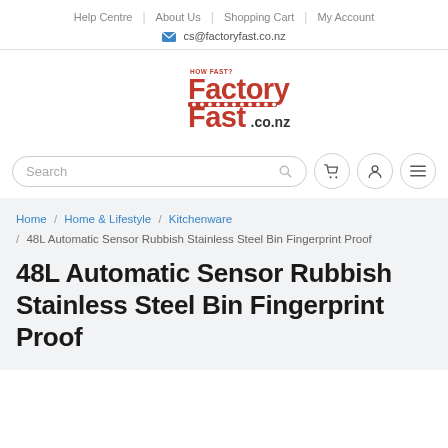Help Centre | About Us | Shopping Cart | My Account
cs@factoryfast.co.nz
[Figure (logo): FactoryFast.co.nz logo with red text and conveyor belt graphic]
Search
Home / Home & Lifestyle / Kitchenware / 48L Automatic Sensor Rubbish Stainless Steel Bin Fingerprint Proof
48L Automatic Sensor Rubbish Stainless Steel Bin Fingerprint Proof